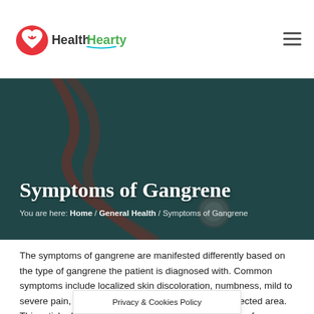HealthHearty
Symptoms of Gangrene
You are here: Home / General Health / Symptoms of Gangrene
The symptoms of gangrene are manifested differently based on the type of gangrene the patient is diagnosed with. Common symptoms include localized skin discoloration, numbness, mild to severe pain, and unusual fluid discharge from the affected area. This article dis[cusses the symptoms of different types of
Privacy & Cookies Policy